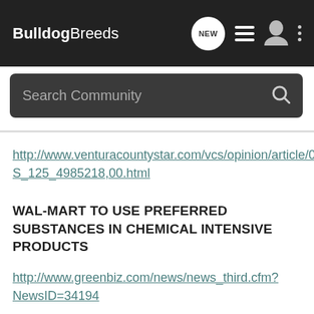BulldogBreeds
Search Community
http://www.venturacountystar.com/vcs/opinion/article/0,1375,VCS_125_4985218,00.html
WAL-MART TO USE PREFERRED SUBSTANCES IN CHEMICAL INTENSIVE PRODUCTS
http://www.greenbiz.com/news/news_third.cfm?NewsID=34194